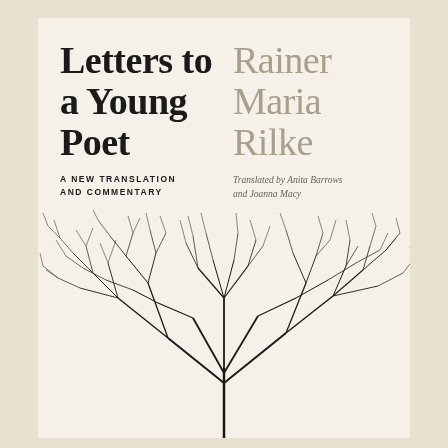Letters to a Young Poet
A NEW TRANSLATION AND COMMENTARY
Rainer Maria Rilke
Translated by Anita Barrows and Joanna Macy
[Figure (illustration): Bare winter tree branches rendered as a fine-line black ink illustration, filling the lower half of the book cover]